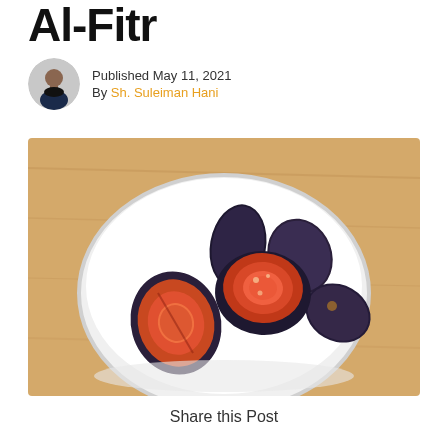Al-Fitr
Published May 11, 2021
By Sh. Suleiman Hani
[Figure (photo): A white bowl filled with dark fresh figs, some cut in half showing the bright red-orange interior, placed on a wooden surface, photographed from above.]
Share this Post